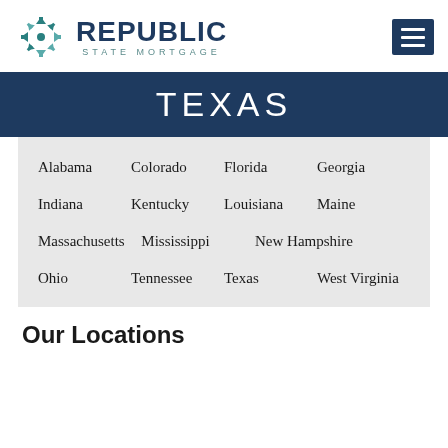[Figure (logo): Republic State Mortgage logo with teal snowflake/house icon and dark navy REPUBLIC text with STATE MORTGAGE subtitle]
TEXAS
Alabama   Colorado   Florida   Georgia
Indiana   Kentucky   Louisiana   Maine
Massachusetts   Mississippi   New Hampshire
Ohio   Tennessee   Texas   West Virginia
Our Locations